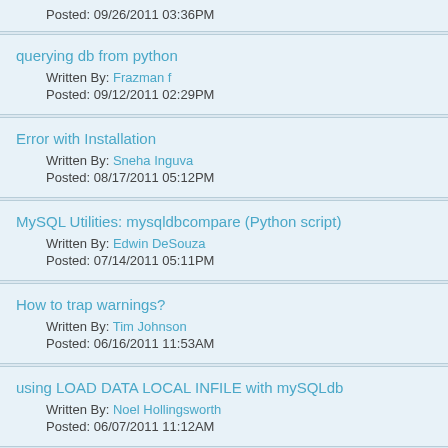Posted: 09/26/2011 03:36PM
querying db from python
Written By: Frazman f
Posted: 09/12/2011 02:29PM
Error with Installation
Written By: Sneha Inguva
Posted: 08/17/2011 05:12PM
MySQL Utilities: mysqldbcompare (Python script)
Written By: Edwin DeSouza
Posted: 07/14/2011 05:11PM
How to trap warnings?
Written By: Tim Johnson
Posted: 06/16/2011 11:53AM
using LOAD DATA LOCAL INFILE with mySQLdb
Written By: Noel Hollingsworth
Posted: 06/07/2011 11:12AM